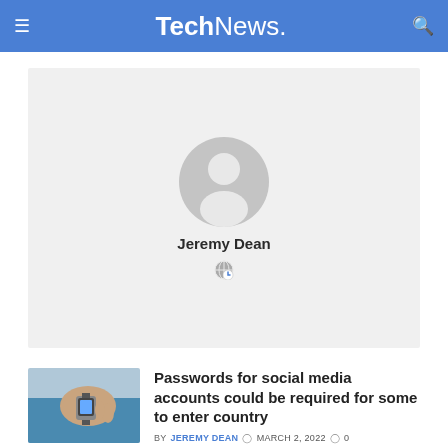TechNews.
[Figure (illustration): Author profile placeholder with silhouette avatar, name Jeremy Dean, and a website/globe icon below]
Jeremy Dean
[Figure (photo): Photo of person adjusting a smartwatch, wearing a blue sleeve]
Passwords for social media accounts could be required for some to enter country
BY JEREMY DEAN  MARCH 2, 2022  0